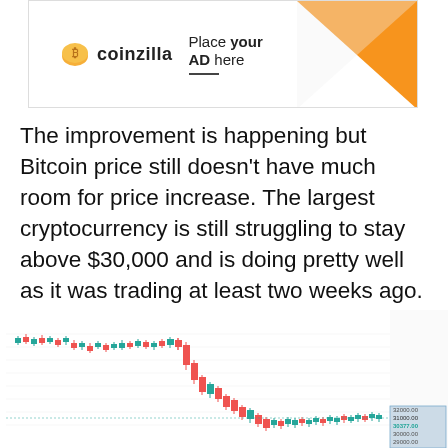[Figure (other): Coinzilla advertisement banner with logo, 'Place your AD here' text, and orange triangle graphic]
The improvement is happening but Bitcoin price still doesn't have much room for price increase. The largest cryptocurrency is still struggling to stay above $30,000 and is doing pretty well as it was trading at least two weeks ago. At the time of writing, BTC is changing hands at $30,377.
[Figure (continuous-plot): Bitcoin/U.S. Dollar candlestick chart from TradingView.com, May 20, 2022 01:35 UTC, showing BTC/USD price decline from approximately $40,000 down to around $30,000, with price levels ranging from 29000.00 to 41000.00 USD on the right axis]